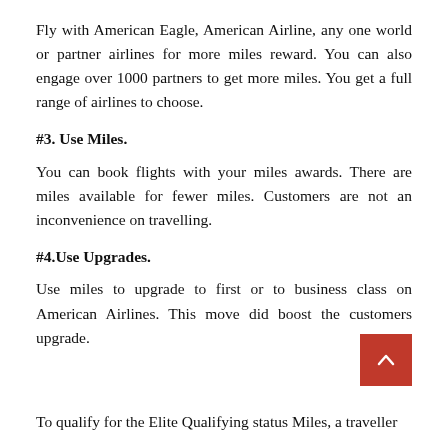Fly with American Eagle, American Airline, any one world or partner airlines for more miles reward. You can also engage over 1000 partners to get more miles. You get a full range of airlines to choose.
#3. Use Miles.
You can book flights with your miles awards. There are miles available for fewer miles. Customers are not an inconvenience on travelling.
#4.Use Upgrades.
Use miles to upgrade to first or to business class on American Airlines. This move did boost the customers upgrade.
To qualify for the Elite Qualifying status Miles, a traveller